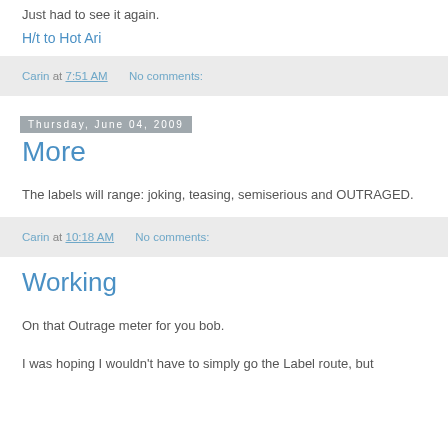Just had to see it again.
H/t to Hot Ari
Carin at 7:51 AM   No comments:
Thursday, June 04, 2009
More
The labels will range: joking, teasing, semiserious and OUTRAGED.
Carin at 10:18 AM    No comments:
Working
On that Outrage meter for you bob.
I was hoping I wouldn't have to simply go the Label route, but